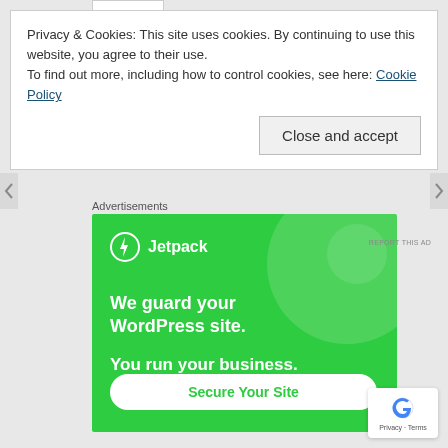Privacy & Cookies: This site uses cookies. By continuing to use this website, you agree to their use.
To find out more, including how to control cookies, see here: Cookie Policy
Close and accept
Advertisements
[Figure (illustration): Jetpack advertisement banner on green background. Shows Jetpack logo (lightning bolt icon) and name at top left. Large decorative circle in top right. Text reads: 'We guard your WordPress site. You run your business.' White rounded button at bottom: 'Secure Your Site'.]
[Figure (logo): Google Privacy & Terms badge — white rounded rectangle with Google 'G' logo and text 'Privacy · Terms']